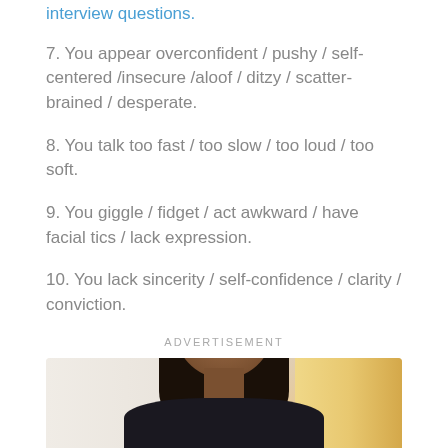interview questions.
7. You appear overconfident / pushy / self-centered /insecure /aloof / ditzy / scatter-brained / desperate.
8. You talk too fast / too slow / too loud / too soft.
9. You giggle / fidget / act awkward / have facial tics / lack expression.
10. You lack sincerity / self-confidence / clarity / conviction.
ADVERTISEMENT
So, How Do You Fix These?
[Figure (photo): A smiling young Black woman with braids, wearing a dark top, photographed indoors with a light blurred background, appearing confident and professional.]